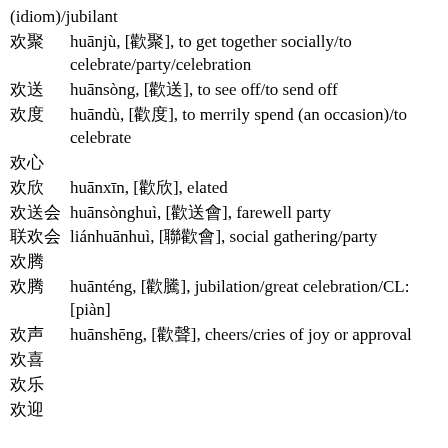(idiom)/jubilant
欢聚  huānjù, [歡聚], to get together socially/to celebrate/party/celebration
欢送  huānsòng, [歡送], to see off/to send off
欢度  huāndù, [歡度], to merrily spend (an occasion)/to celebrate
欢心
欢欣  huānxīn, [歡欣], elated
欢送会  huānsònghuì, [歡送會], farewell party
联欢会  liánhuānhuì, [聯歡會], social gathering/party
欢腾
欢腾  huānténg, [歡騰], jubilation/great celebration/CL: [piàn]
欢声  huānshēng, [歡聲], cheers/cries of joy or approval
欢喜
欢乐
欢迎